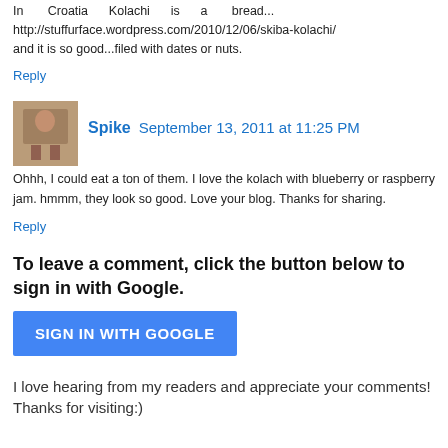In Croatia Kolachi is a bread... http://stuffurface.wordpress.com/2010/12/06/skiba-kolachi/ and it is so good...filed with dates or nuts.
Reply
Spike  September 13, 2011 at 11:25 PM
Ohhh, I could eat a ton of them. I love the kolach with blueberry or raspberry jam. hmmm, they look so good. Love your blog. Thanks for sharing.
Reply
To leave a comment, click the button below to sign in with Google.
SIGN IN WITH GOOGLE
I love hearing from my readers and appreciate your comments! Thanks for visiting:)